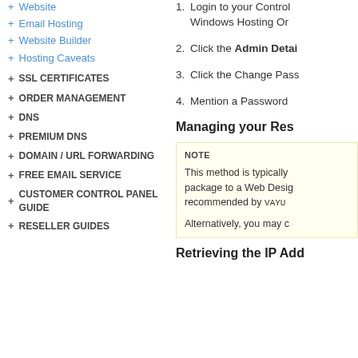+ Website
+ Email Hosting
+ Website Builder
+ Hosting Caveats
+ SSL CERTIFICATES
+ ORDER MANAGEMENT
+ DNS
+ PREMIUM DNS
+ DOMAIN / URL FORWARDING
+ FREE EMAIL SERVICE
+ CUSTOMER CONTROL PANEL GUIDE
+ RESELLER GUIDES
1. Login to your Control Panel. Windows Hosting Or...
2. Click the Admin Detai...
3. Click the Change Pass...
4. Mention a Password
Managing your Res...
NOTE
This method is typically... package to a Web Desig... recommended by VAYUP...

Alternatively, you may c...
Retrieving the IP Add...